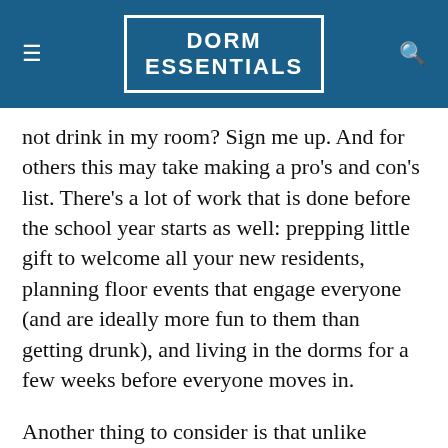DORM ESSENTIALS
not drink in my room? Sign me up. And for others this may take making a pro’s and con’s list. There’s a lot of work that is done before the school year starts as well: prepping little gift to welcome all your new residents, planning floor events that engage everyone (and are ideally more fun to them than getting drunk), and living in the dorms for a few weeks before everyone moves in.
Another thing to consider is that unlike paying the school to have a bed set aside for you, applying to be an RA can be an extensive process with interviews and summer-time training. It should be